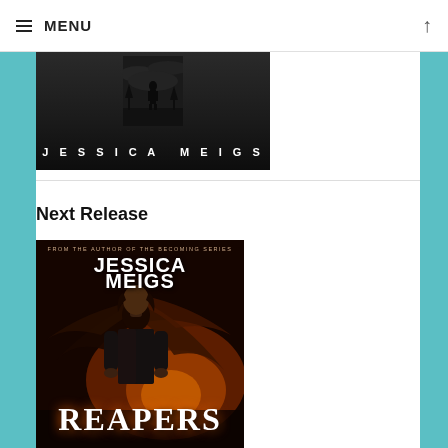≡ MENU
[Figure (photo): Black and white book cover showing a silhouette of a person standing in a dark, moody landscape with the author name JESSICA MEIGS in spaced capital letters at the bottom]
Next Release
[Figure (photo): Book cover for 'Reapers' by Jessica Meigs. Text at top reads 'FROM THE AUTHOR OF THE BECOMING SERIES' then 'JESSICA MEIGS' in large white letters. A man with dark long hair in a black jacket stands in front of large dark wings spread behind him against a fiery orange background. Large white text at the bottom reads 'REAPERS'.]